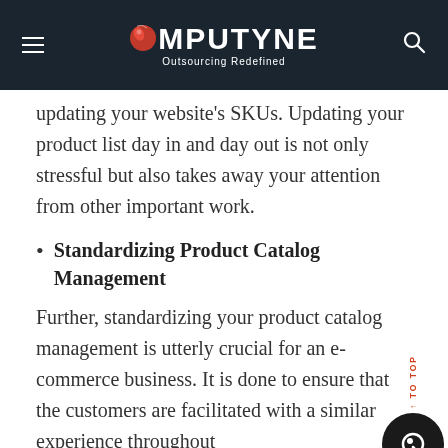COMPUTYNE Outsourcing Redefined
updating your website's SKUs. Updating your product list day in and day out is not only stressful but also takes away your attention from other important work.
Standardizing Product Catalog Management
Further, standardizing your product catalog management is utterly crucial for an e-commerce business. It is done to ensure that the customers are facilitated with a similar experience throughout